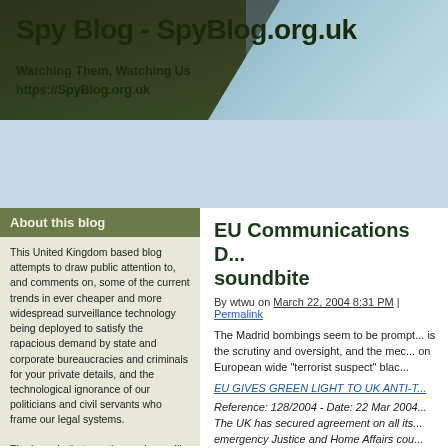Spy Blog - SpyBlog.org.uk
Watching Them, Watching Us
https://SpyBlog.org.uk
[Figure (photo): London skyline silhouette against a blue-grey sky used as blog header background]
About this blog
This United Kingdom based blog attempts to draw public attention to, and comments on, some of the current trends in ever cheaper and more widespread surveillance technology being deployed to satisfy the rapacious demand by state and corporate bureaucracies and criminals for your private details, and the technological ignorance of our politicians and civil servants who frame our legal systems.

The hope is that you the readers, will help to insist that strong safeguards for the
EU Communications D... soundbite
By wtwu on March 22, 2004 8:31 PM | Permalink
The Madrid bombings seem to be prompt... is the scrutiny and oversight, and the mec... on European wide "terrorist suspect" blac...
EU GIVES GREEN LIGHT TO UK ANTI-T...
Reference: 128/2004 - Date: 22 Mar 2004... The UK has secured agreement on all its... emergency Justice and Home Affairs cou...
The Council: